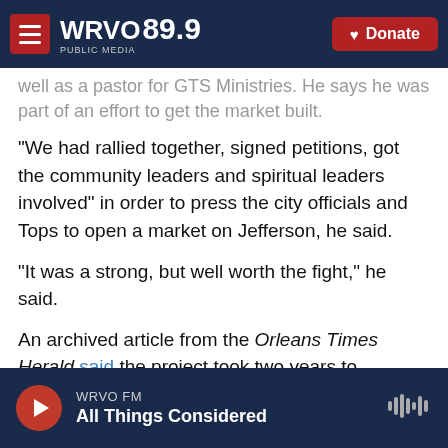WRVO 89.9 PUBLIC MEDIA | Donate
well as a pastor for GTS Ministries. He says he was part of an effort to get the market built.
"We had rallied together, signed petitions, got the community leaders and spiritual leaders involved" in order to press the city officials and Tops to open a market on Jefferson, he said.
"It was a strong, but well worth the fight," he said.
An archived article from the Orleans Times Herald said the project took two years to complete and was delayed because regulatory approvals took so long.
WRVO FM | All Things Considered